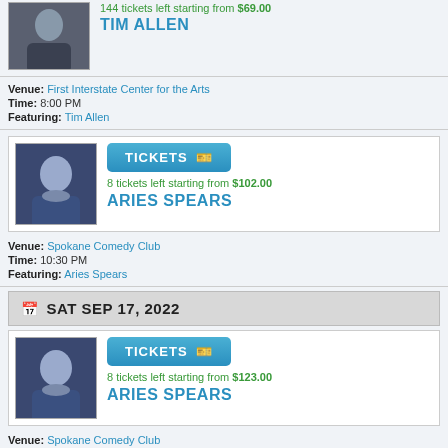[Figure (photo): Photo of Tim Allen in dark jacket, partial view at top of page]
144 tickets left starting from $69.00
TIM ALLEN
Venue: First Interstate Center for the Arts
Time: 8:00 PM
Featuring: Tim Allen
[Figure (photo): Photo of Aries Spears with blue background]
TICKETS
8 tickets left starting from $102.00
ARIES SPEARS
Venue: Spokane Comedy Club
Time: 10:30 PM
Featuring: Aries Spears
SAT SEP 17, 2022
[Figure (photo): Photo of Aries Spears with blue background]
TICKETS
8 tickets left starting from $123.00
ARIES SPEARS
Venue: Spokane Comedy Club
Time: 7:30 PM
Featuring: Aries Spears
[Figure (photo): Partial photo of performer at bottom of page]
TICKETS